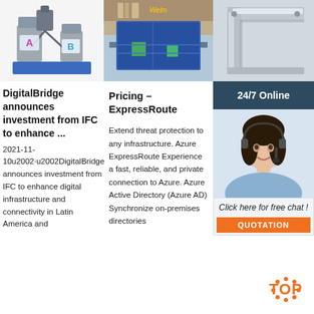[Figure (photo): Industrial mixing equipment with two containers labeled A and B on a blue platform]
[Figure (photo): Manufacturing equipment with blue solar panels or flat glass panels on a conveyor]
[Figure (photo): Metal frame corner detail, close-up engineering shot]
24/7 Online
[Figure (photo): Customer service agent woman with headset smiling]
DigitalBridge announces investment from IFC to enhance ...
2021-11-10u2002·u2002DigitalBridge announces investment from IFC to enhance digital infrastructure and connectivity in Latin America and
Pricing – ExpressRoute
Extend threat protection to any infrastructure. Azure ExpressRoute Experience a fast, reliable, and private connection to Azure. Azure Active Directory (Azure AD) Synchronize on-premises directories
Envi move Wiki
2021-11-29u20... environmental movement (sometimes referred to as the ecology movement), also including
Click here for free chat !
QUOTATION